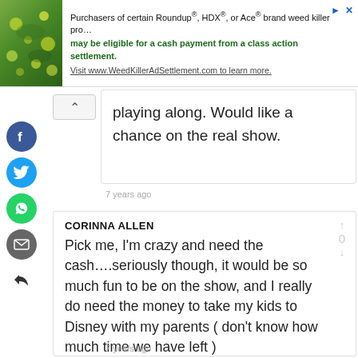[Figure (infographic): Advertisement banner: green plant image on left, text about Roundup/HDX/Ace weed killer class action settlement on right, with close button]
playing along. Would like a chance on the real show.
7 years ago
CORINNA ALLEN
Pick me, I'm crazy and need the cash….seriously though, it would be so much fun to be on the show, and I really do need the money to take my kids to Disney with my parents ( don't know how much time we have left )
7 years ago